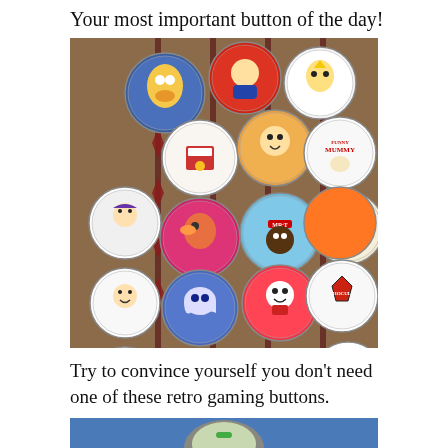Your most important button of the day!
[Figure (photo): A collection of colorful retro cartoon character pinback buttons arranged on a patterned fabric/rug background. Approximately 20 circular buttons featuring various cereal mascots and cartoon characters.]
Try to convince yourself you don’t need one of these retro gaming buttons.
[Figure (photo): Partial view of a blue-background photo showing what appears to be a single green and white retro gaming button/badge on a dark surface.]